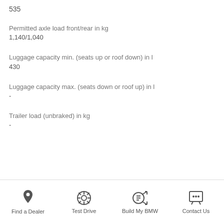535
Permitted axle load front/rear in kg
1,140/1,040
Luggage capacity min. (seats up or roof down) in l
430
Luggage capacity max. (seats down or roof up) in l
-
Trailer load (unbraked) in kg
-
Find a Dealer   Test Drive   Build My BMW   Contact Us